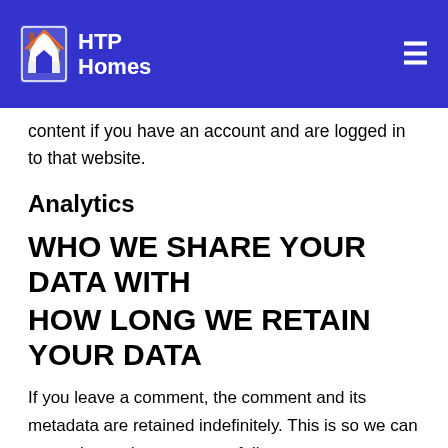HTP Homes
content if you have an account and are logged in to that website.
Analytics
WHO WE SHARE YOUR DATA WITH
HOW LONG WE RETAIN YOUR DATA
If you leave a comment, the comment and its metadata are retained indefinitely. This is so we can recognize and approve any follow-up comments automatically instead of holding them in a moderation queue.
For users that register on our website (if any), we also store the personal information they provide in their user profile. All users can see, edit or delete their